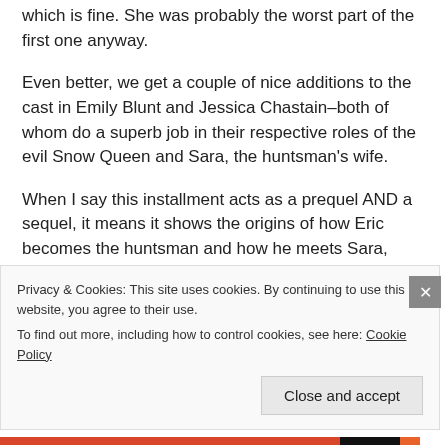which is fine. She was probably the worst part of the first one anyway.
Even better, we get a couple of nice additions to the cast in Emily Blunt and Jessica Chastain–both of whom do a superb job in their respective roles of the evil Snow Queen and Sara, the huntsman's wife.
When I say this installment acts as a prequel AND a sequel, it means it shows the origins of how Eric becomes the huntsman and how he meets Sara,
Privacy & Cookies: This site uses cookies. By continuing to use this website, you agree to their use.
To find out more, including how to control cookies, see here: Cookie Policy
Close and accept